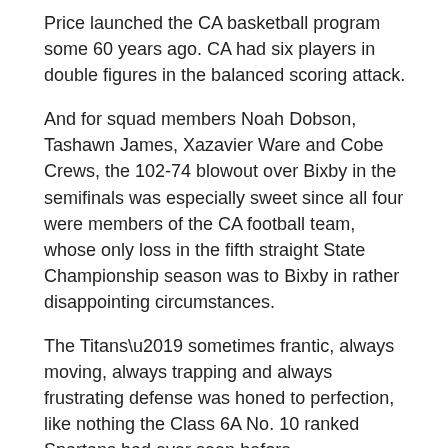Price launched the CA basketball program some 60 years ago. CA had six players in double figures in the balanced scoring attack.
And for squad members Noah Dobson, Tashawn James, Xazavier Ware and Cobe Crews, the 102-74 blowout over Bixby in the semifinals was especially sweet since all four were members of the CA football team, whose only loss in the fifth straight State Championship season was to Bixby in rather disappointing circumstances.
The Titans’ sometimes frantic, always moving, always trapping and always frustrating defense was honed to perfection, like nothing the Class 6A No. 10 ranked Spartans had ever seen before.
But it wasn’t easy.
Mustang tourney MVP James Locke had a pair of treys and two free throws in the first quarter and Crews got his name on the book with a free throw, but the Spartans hung tough and the two clubs were knotted at 20-all after one quarter.
Mustang All-Tourney honoree Antonio Watson reached his career